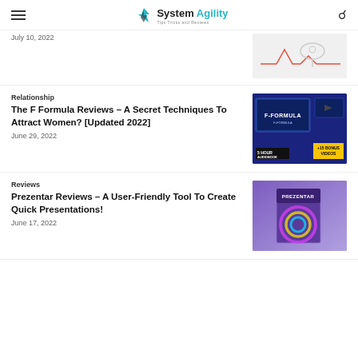System Agility – Tips Tricks and Reviews
July 10, 2022
[Figure (screenshot): Medical/health related article thumbnail image]
Relationship
The F Formula Reviews – A Secret Techniques To Attract Women? [Updated 2022]
June 29, 2022
[Figure (screenshot): F-Formula product image showing laptop, tablet and phone with F-FORMULA branding, +15 BONUS VIDEOS badge]
Reviews
Prezentar Reviews – A User-Friendly Tool To Create Quick Presentations!
June 17, 2022
[Figure (screenshot): Prezentar product box on purple background with colorful swirl design]